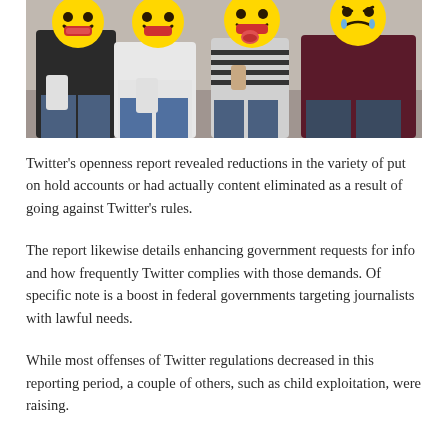[Figure (photo): Four people sitting on a couch holding smartphones, with large emoji faces (grinning, tongue-out, crying) covering their actual faces. The photo is cropped at the top showing only their bodies from the shoulders down and the emoji faces.]
Twitter's openness report revealed reductions in the variety of put on hold accounts or had actually content eliminated as a result of going against Twitter's rules.
The report likewise details enhancing government requests for info and how frequently Twitter complies with those demands. Of specific note is a boost in federal governments targeting journalists with lawful needs.
While most offenses of Twitter regulations decreased in this reporting period, a couple of others, such as child exploitation, were raising.